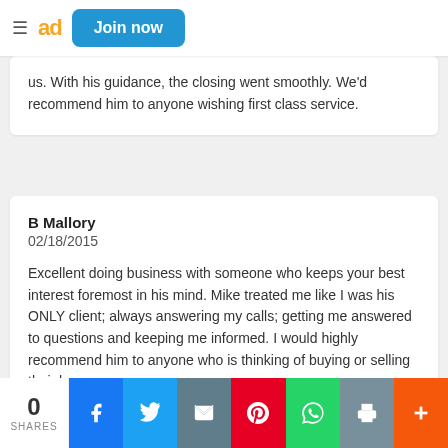≡ ad Join now
us. With his guidance, the closing went smoothly. We'd recommend him to anyone wishing first class service.
B Mallory
02/18/2015

Excellent doing business with someone who keeps your best interest foremost in his mind. Mike treated me like I was his ONLY client; always answering my calls; getting me answered to questions and keeping me informed. I would highly recommend him to anyone who is thinking of buying or selling their home.
0 SHARES | Facebook | Twitter | Email | Pinterest | WhatsApp | Print | Plus